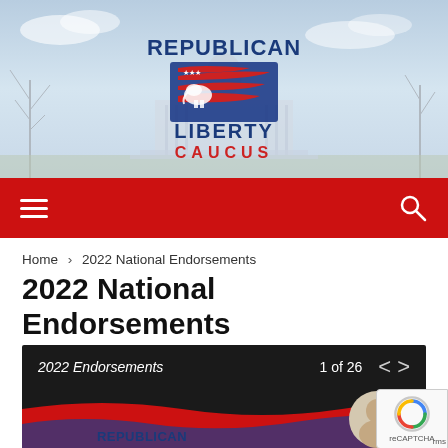[Figure (logo): Republican Liberty Caucus logo with elephant, American flag stripes, and text REPUBLICAN LIBERTY CAUCUS on a faded Capitol building background]
[Figure (screenshot): Red navigation bar with hamburger menu icon on the left and search icon on the right]
Home › 2022 National Endorsements
2022 National Endorsements
[Figure (screenshot): Dark slideshow toolbar showing '2022 Endorsements' on the left and '1 of 26' with navigation arrows on the right]
[Figure (screenshot): Bottom of endorsement card showing red and blue wave design with REPUBLICAN text and a circular photo of a candidate partially visible]